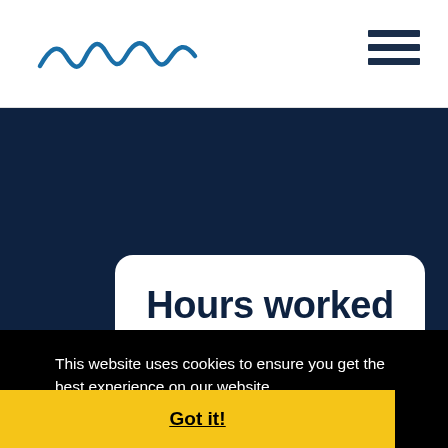[Figure (logo): Wavy line logo in blue, resembling a stylized wave or river]
[Figure (illustration): Hamburger menu icon — three dark horizontal bars stacked vertically, top right]
Hours worked
This website uses cookies to ensure you get the best experience on our website.
Learn more
Got it!